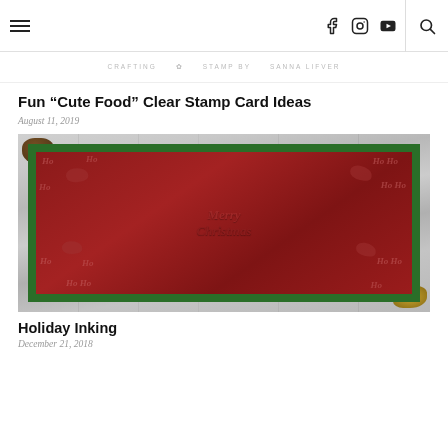Navigation header with hamburger menu, social icons (Facebook, Instagram, YouTube), and search
[Figure (screenshot): Blog banner strip with crafting-related branding and text]
Fun “Cute Food” Clear Stamp Card Ideas
August 11, 2019
[Figure (photo): Christmas card with green mat and red panel featuring Ho Ho Ho text, reindeer silhouettes, and Merry Christmas script, surrounded by pinecone and gold branch decorations on a white wood background]
Holiday Inking
December 21, 2018